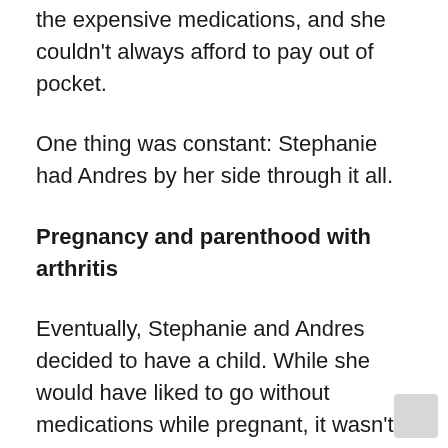the expensive medications, and she couldn't always afford to pay out of pocket.
One thing was constant: Stephanie had Andres by her side through it all.
Pregnancy and parenthood with arthritis
Eventually, Stephanie and Andres decided to have a child. While she would have liked to go without medications while pregnant, it wasn't practical. “I had to balance between what’s best for [the baby] and what’s best for me,” she explains.